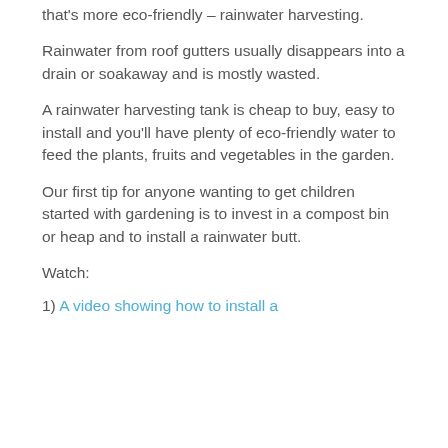that's more eco-friendly – rainwater harvesting.
Rainwater from roof gutters usually disappears into a drain or soakaway and is mostly wasted.
A rainwater harvesting tank is cheap to buy, easy to install and you'll have plenty of eco-friendly water to feed the plants, fruits and vegetables in the garden.
Our first tip for anyone wanting to get children started with gardening is to invest in a compost bin or heap and to install a rainwater butt.
Watch:
1) A video showing how to install a